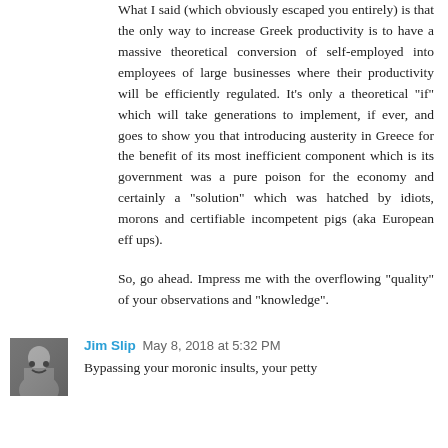What I said (which obviously escaped you entirely) is that the only way to increase Greek productivity is to have a massive theoretical conversion of self-employed into employees of large businesses where their productivity will be efficiently regulated. It's only a theoretical "if" which will take generations to implement, if ever, and goes to show you that introducing austerity in Greece for the benefit of its most inefficient component which is its government was a pure poison for the economy and certainly a "solution" which was hatched by idiots, morons and certifiable incompetent pigs (aka European eff ups).
So, go ahead. Impress me with the overflowing "quality" of your observations and "knowledge".
[Figure (photo): Small avatar/profile photo thumbnail of commenter Jim Slip, showing a person's face, approximately 58x58 pixels]
Jim Slip  May 8, 2018 at 5:32 PM
Bypassing your moronic insults, your petty